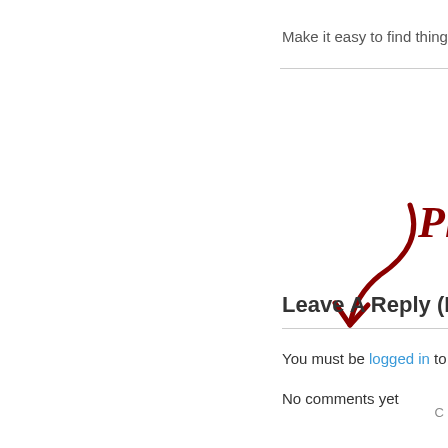Make it easy to find things on
[Figure (illustration): Red handwritten arrow pointing downward with partial red handwritten text 'Pl' visible at the right edge]
Leave A Reply (No
You must be logged in to pos
No comments yet
C